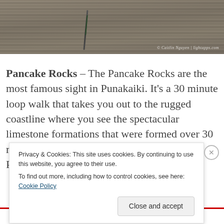[Figure (photo): Close-up photograph of layered Pancake Rocks limestone formations with a crack running through them and moss growing in the crack. Photo credit: © Caitlin Nguyen | lightapps.com]
Pancake Rocks – The Pancake Rocks are the most famous sight in Punakaiki. It's a 30 minute loop walk that takes you out to the rugged coastline where you see the spectacular limestone formations that were formed over 30 million years ago! The foundations of the Pancake...
Privacy & Cookies: This site uses cookies. By continuing to use this website, you agree to their use.
To find out more, including how to control cookies, see here: Cookie Policy
Close and accept